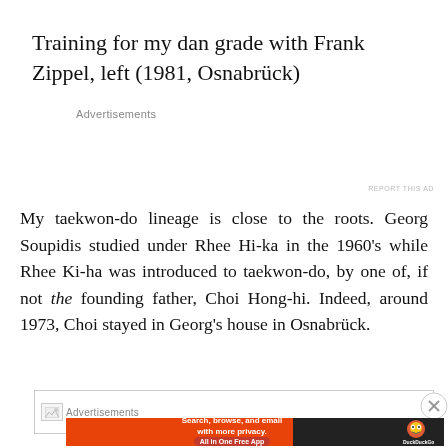Training for my dan grade with Frank Zippel, left (1981, Osnabrück)
Advertisements
REPORT THIS AD
My taekwon-do lineage is close to the roots. Georg Soupidis studied under Rhee Hi-ka in the 1960's while Rhee Ki-ha was introduced to taekwon-do, by one of, if not the founding father, Choi Hong-hi. Indeed, around 1973, Choi stayed in Georg's house in Osnabrück.
[Figure (other): Broken image placeholder for an advertisement banner]
Advertisements
[Figure (other): DuckDuckGo advertisement banner: Search, browse, and email with more privacy. All in One Free App]